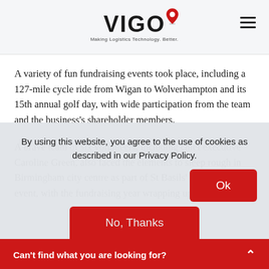[Figure (logo): VIGO logo with red map pin icon and tagline 'Making Logistics Technology. Better.']
A variety of fun fundraising events took place, including a 127-mile cycle ride from Wigan to Wolverhampton and its 15th annual golf day, with wide participation from the team and the business's shareholder members.
A brave team of six volunteers, including chief executive Caroline Green, also faced the elements to sleep rough in Birmingham city centre as part of St Basils' Big SleepOut event, with the fundraising year wrapping up at the
By using this website, you agree to the use of cookies as described in our Privacy Policy.
Ok
No, Thanks
Can't find what you are looking for?